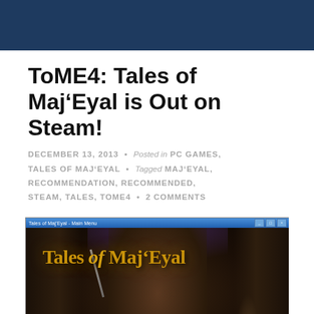ToME4: Tales of Maj'Eyal is Out on Steam!
DECEMBER 13, 2013 • Posted in PC GAMES, TALES OF MAJ'EYAL • Tagged MAJ'EYAL, RECOMMENDATION, RECOMMENDED, STEAM, TALES, TOME4 • 2 COMMENTS
[Figure (screenshot): Screenshot of the Tales of Maj'Eyal game title screen, showing the game logo text in golden/orange color over a dark dungeon tunnel background with stone walls and purple atmospheric lighting.]